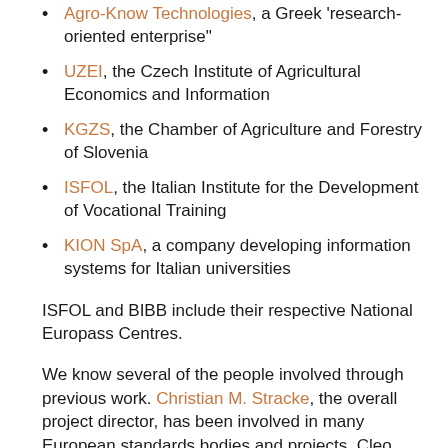Agro-Know Technologies, a Greek 'research-oriented enterprise'
UZEI, the Czech Institute of Agricultural Economics and Information
KGZS, the Chamber of Agriculture and Forestry of Slovenia
ISFOL, the Italian Institute for the Development of Vocational Training
KION SpA, a company developing information systems for Italian universities
ISFOL and BIBB include their respective National Europass Centres.
We know several of the people involved through previous work. Christian M. Stracke, the overall project director, has been involved in many European standards bodies and projects. Cleo Sgouropoulou (ELOT) and Simone Ravaioli (KION) are part of the core team